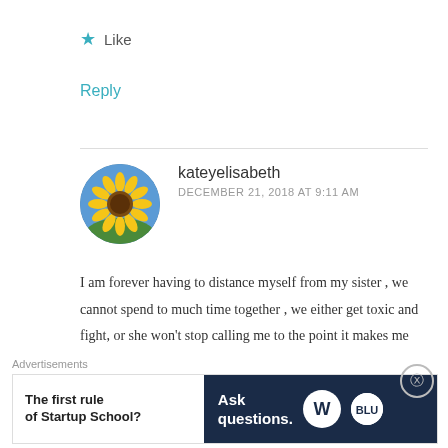★ Like
Reply
[Figure (photo): Circular avatar showing a sunflower against blue sky]
kateyelisabeth
DECEMBER 21, 2018 AT 9:11 AM
I am forever having to distance myself from my sister , we cannot spend to much time together , we either get toxic and fight, or she won't stop calling me to the point it makes me and my boyfriend fight as it's like having a third person in the relationship 😂 and she is 8 years older then me, I love her to
Advertisements
[Figure (screenshot): Advertisement banner: left side white with text 'The first rule of Startup School?', right side dark navy with text 'Ask questions.' and WordPress logos]